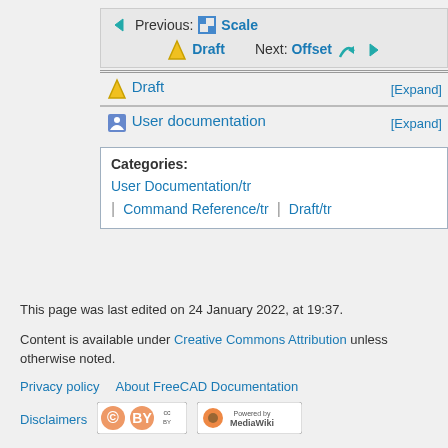[Figure (screenshot): Navigation box with Previous: Scale and Next: Offset links, Draft section header with [Expand], User documentation section with [Expand], and Categories box listing User Documentation/tr, Command Reference/tr, Draft/tr]
This page was last edited on 24 January 2022, at 19:37.
Content is available under Creative Commons Attribution unless otherwise noted.
Privacy policy   About FreeCAD Documentation
Disclaimers
[Figure (logo): Creative Commons Attribution license badge]
[Figure (logo): Powered by MediaWiki badge]